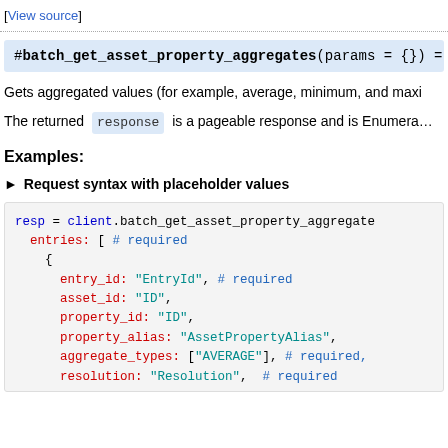[View source]
Gets aggregated values (for example, average, minimum, and maxi…
The returned response is a pageable response and is Enumera…
Examples:
► Request syntax with placeholder values
resp = client.batch_get_asset_property_aggregate
  entries: [ # required
    {
      entry_id: "EntryId", # required
      asset_id: "ID",
      property_id: "ID",
      property_alias: "AssetPropertyAlias",
      aggregate_types: ["AVERAGE"], # required,
      resolution: "Resolution", # required